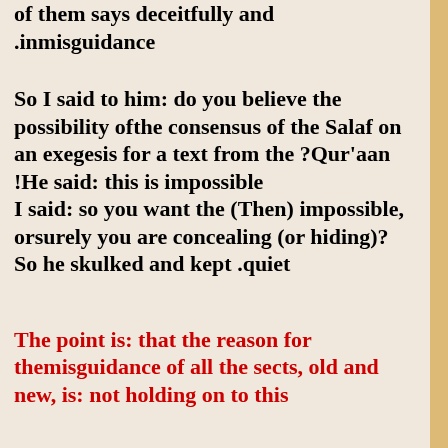of them says deceitfully and .inmisguidance
So I said to him: do you believe the possibility ofthe consensus of the Salaf on an exegesis for a text from the ?Qur'aan
!He said: this is impossible
I said: so you want the (Then) impossible, orsurely you are concealing (or hiding)? So he skulked and kept .quiet
The point is: that the reason for themisguidance of all the sects, old and new, is: not holding on to this